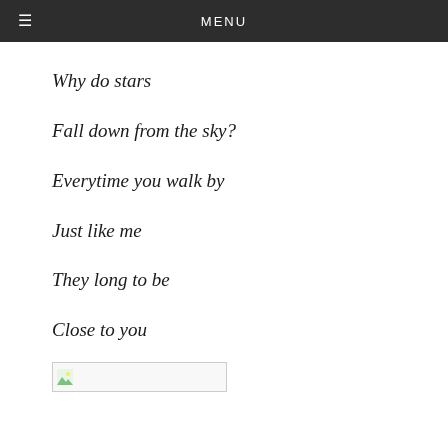MENU
Why do stars
Fall down from the sky?
Everytime you walk by
Just like me
They long to be
Close to you
[Figure (other): Broken image placeholder with small icon]